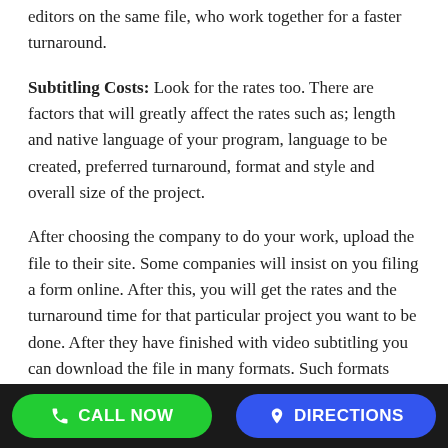editors on the same file, who work together for a faster turnaround.
Subtitling Costs: Look for the rates too. There are factors that will greatly affect the rates such as; length and native language of your program, language to be created, preferred turnaround, format and style and overall size of the project.
After choosing the company to do your work, upload the file to their site. Some companies will insist on you filing a form online. After this, you will get the rates and the turnaround time for that particular project you want to be done. After they have finished with video subtitling you can download the file in many formats. Such formats include multilingual DFXP, Real Text (for Real Media), SCC for iOS, SBV (for YouTube), STL (for DVD Studio Pro), SMI or SAMI (for Windows Media), DFXP (for Adobe Flash) and Captionate.
CALL NOW   DIRECTIONS